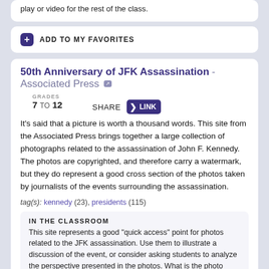play or video for the rest of the class.
ADD TO MY FAVORITES
50th Anniversary of JFK Assassination - Associated Press
GRADES 7 TO 12
SHARE LINK
It's said that a picture is worth a thousand words. This site from the Associated Press brings together a large collection of photographs related to the assassination of John F. Kennedy. The photos are copyrighted, and therefore carry a watermark, but they do represent a good cross section of the photos taken by journalists of the events surrounding the assassination.
tag(s): kennedy (23), presidents (115)
IN THE CLASSROOM
This site represents a good "quick access" point for photos related to the JFK assassination. Use them to illustrate a discussion of the event, or consider asking students to analyze the perspective presented in the photos. What is the photo communicating? How have these photos influenced the way we remember this important